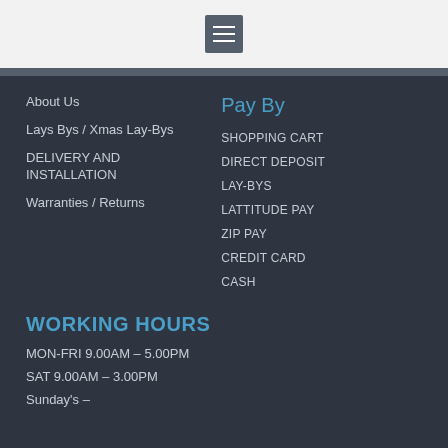[Figure (other): Hamburger menu icon button (three horizontal lines) on a light grey header bar]
About Us
Lays Bys / Xmas Lay-Bys
DELIVERY AND INSTALLATION
Warranties / Returns
Pay By
SHOPPING CART
DIRECT DEPOSIT
LAY-BYS
LATTITUDE PAY
ZIP PAY
CREDIT CARD
CASH
WORKING HOURS
MON-FRI 9.00AM – 5.00PM
SAT 9.00AM – 3.00PM
Sunday's –